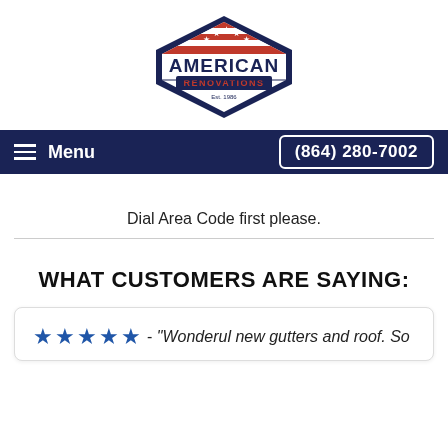[Figure (logo): American Renovations logo — diamond/hexagon shape with American flag stripes and stars, dark navy text 'AMERICAN' and red 'RENOVATIONS', Est. 1986]
Menu   (864) 280-7002
Dial Area Code first please.
WHAT CUSTOMERS ARE SAYING:
★★★★★ - "Wonderul new gutters and roof. So